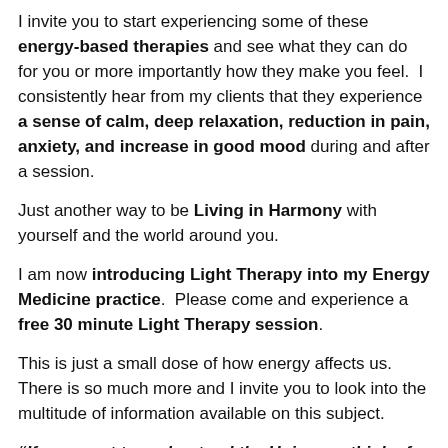I invite you to start experiencing some of these energy-based therapies and see what they can do for you or more importantly how they make you feel.  I consistently hear from my clients that they experience a sense of calm, deep relaxation, reduction in pain, anxiety, and increase in good mood during and after a session.
Just another way to be Living in Harmony with yourself and the world around you.
I am now introducing Light Therapy into my Energy Medicine practice.  Please come and experience a free 30 minute Light Therapy session.
This is just a small dose of how energy affects us.  There is so much more and I invite you to look into the multitude of information available on this subject.
"If you want to understand the Universe, think of